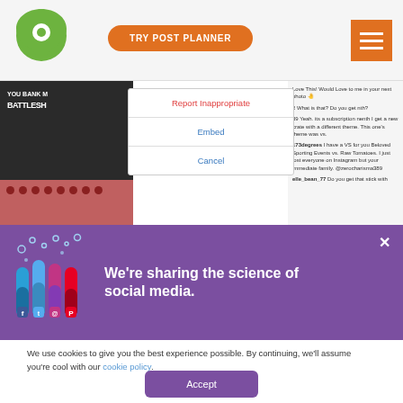[Figure (screenshot): Post Planner website header with green logo, orange 'TRY POST PLANNER' button, and orange hamburger menu icon]
[Figure (screenshot): Instagram-style UI showing a photo with a dropdown menu containing 'Report Inappropriate', 'Embed', and 'Cancel' options, alongside a chat/comment panel]
[Figure (infographic): Purple banner reading 'We're sharing the science of social media.' with lab tubes illustration and social media icons, plus a close X button]
We use cookies to give you the best experience possible. By continuing, we'll assume you're cool with our cookie policy.
Accept